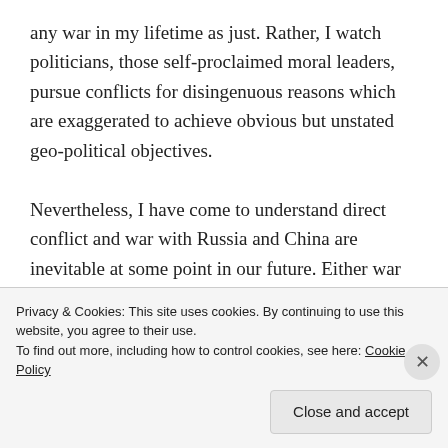any war in my lifetime as just. Rather, I watch politicians, those self-proclaimed moral leaders, pursue conflicts for disingenuous reasons which are exaggerated to achieve obvious but unstated geo-political objectives.

Nevertheless, I have come to understand direct conflict and war with Russia and China are inevitable at some point in our future. Either war or the total collapse, dissolution, and break up of the United States, or Russia and China, through economic failure without war. Yet considering the lessons of history, it is unlikely there can be an ultimate victory without someone's total
Privacy & Cookies: This site uses cookies. By continuing to use this website, you agree to their use.
To find out more, including how to control cookies, see here: Cookie Policy

Close and accept